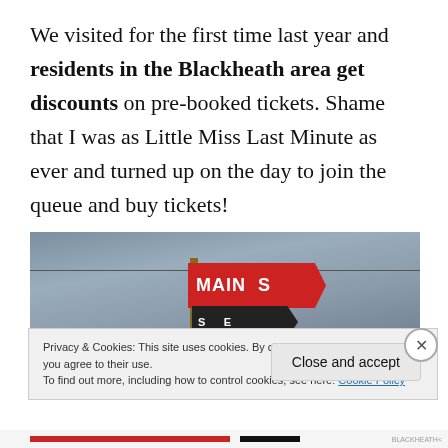We visited for the first time last year and residents in the Blackheath area get discounts on pre-booked tickets. Shame that I was as Little Miss Last Minute as ever and turned up on the day to join the queue and buy tickets!
[Figure (photo): Directional signs on a wooden pole against a cloudy grey sky. A red arrow sign reads 'MAIN STAGE' and below it a dark sign also reads 'STAGE'.]
Privacy & Cookies: This site uses cookies. By continuing to use this website, you agree to their use.
To find out more, including how to control cookies, see here: Cookie Policy
Close and accept